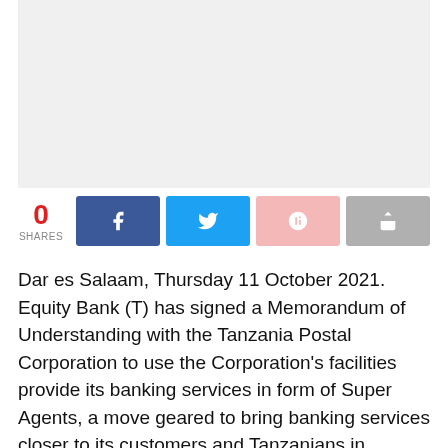[Figure (photo): Light gray placeholder image area at the top of the page]
0 SHARES
Dar es Salaam, Thursday 11 October 2021. Equity Bank (T) has signed a Memorandum of Understanding with the Tanzania Postal Corporation to use the Corporation's facilities provide its banking services in form of Super Agents, a move geared to bring banking services closer to its customers and Tanzanians in general.